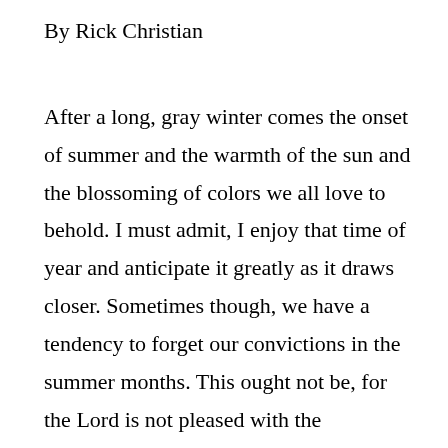By Rick Christian
After a long, gray winter comes the onset of summer and the warmth of the sun and the blossoming of colors we all love to behold. I must admit, I enjoy that time of year and anticipate it greatly as it draws closer. Sometimes though, we have a tendency to forget our convictions in the summer months. This ought not be, for the Lord is not pleased with the “seasonal” Christian. It is at all times we must let our light shine to exemplify the